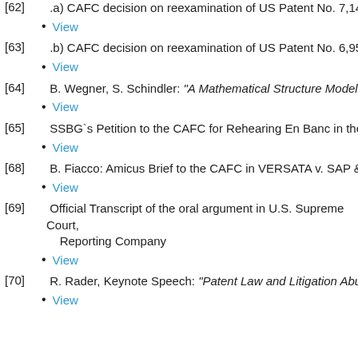[62] .a) CAFC decision on reexamination of US Patent No. 7,149,502,
View
[63] .b) CAFC decision on reexamination of US Patent No. 6,954,453,
View
[64] B. Wegner, S. Schindler: "A Mathematical Structure Modeling Inv
View
[65] SSBG`s Petition to the CAFC for Rehearing En Banc in the '902 c
View
[68] B. Fiacco: Amicus Brief to the CAFC in VERSATA v. SAP & USPT
View
[69] Official Transcript of the oral argument in U.S. Supreme Court, Reporting Company
View
[70] R. Rader, Keynote Speech: "Patent Law and Litigation Abuse", El
View